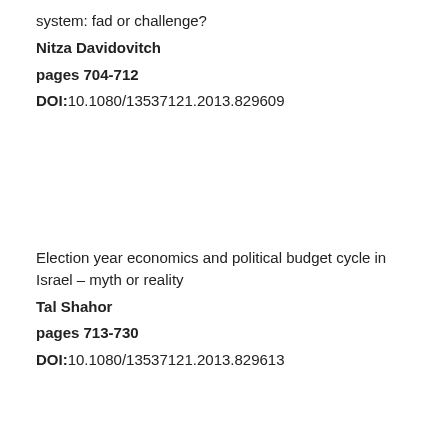system: fad or challenge?
Nitza Davidovitch
pages 704-712
DOI:10.1080/13537121.2013.829609
Election year economics and political budget cycle in Israel – myth or reality
Tal Shahor
pages 713-730
DOI:10.1080/13537121.2013.829613